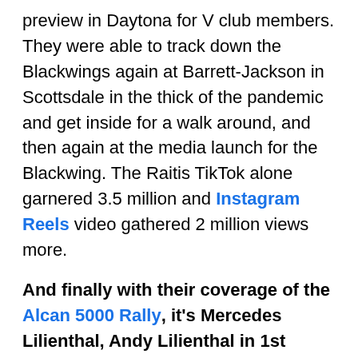preview in Daytona for V club members. They were able to track down the Blackwings again at Barrett-Jackson in Scottsdale in the thick of the pandemic and get inside for a walk around, and then again at the media launch for the Blackwing. The Raitis TikTok alone garnered 3.5 million and Instagram Reels video gathered 2 million views more.
And finally with their coverage of the Alcan 5000 Rally, it's Mercedes Lilienthal, Andy Lilienthal in 1st place. Who would've ever traveled to the Arctic Ocean in the dead of winter with an old right-hand-drive diesel-powered Mitsubishi Pajero? How about doing that while competing in a major 10-day Arctic road